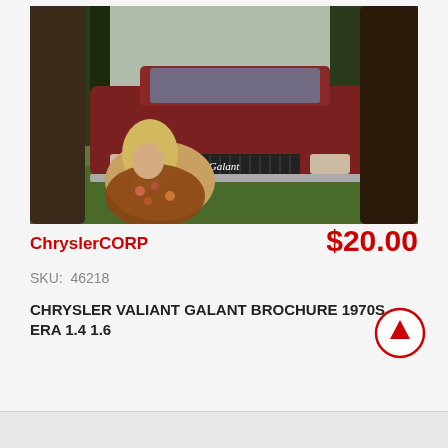[Figure (photo): Vintage 1970s car brochure photo showing a red Mitsubishi/Chrysler Galant car parked under trees with a young woman with long blonde hair sitting in front of the car on grass. The car has 'Galant' script on the front grille area.]
ChryslerCORP
$20.00
SKU:  46218
CHRYSLER VALIANT GALANT BROCHURE 1970S ERA 1.4 1.6